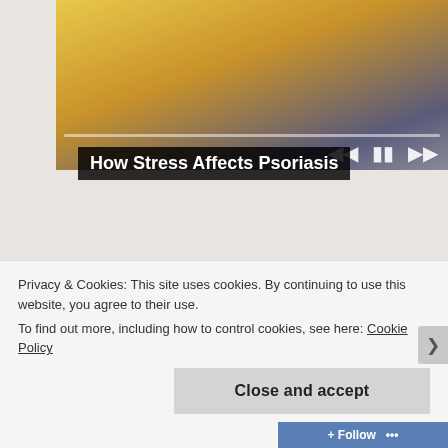[Figure (screenshot): Video player showing a person in a yellow sweater sitting on a couch, with playback controls (skip back, pause, skip forward) visible, and a progress bar at bottom]
How Stress Affects Psoriasis
[Figure (logo): Picture Mushroom app icon - red mushroom illustration with corner bracket markers on white background]
sponsored by
Picture Mushroom
Privacy & Cookies: This site uses cookies. By continuing to use this website, you agree to their use.
To find out more, including how to control cookies, see here: Cookie Policy
Close and accept